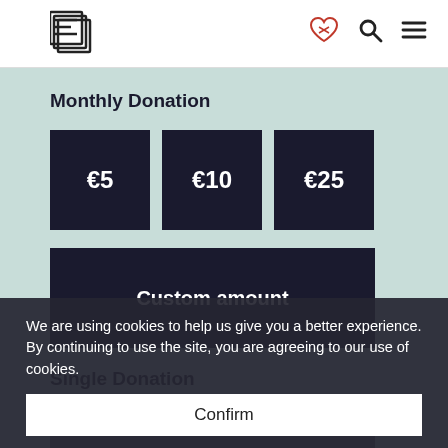Logo and navigation icons
Monthly Donation
€5
€10
€25
Custom amount
Single Donation
Custom amount
We are using cookies to help us give you a better experience. By continuing to use the site, you are agreeing to our use of cookies.
Confirm